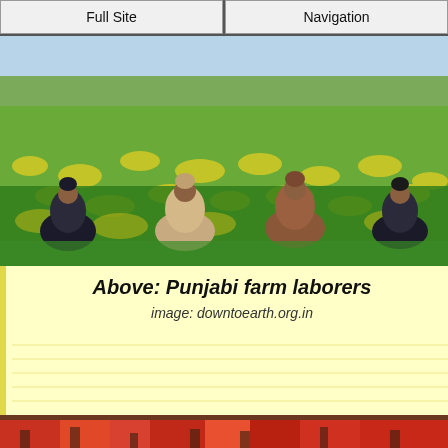Full Site | Navigation
[Figure (photo): Four women farm laborers bent over, harvesting crops in a green field with yellow flowers (mustard field), bright sunny day, Punjab farm scene]
Above: Punjabi farm laborers
image: downtoearth.org.in
[Figure (photo): Partial view of a crowded colorful market scene, visible at the bottom of the page]